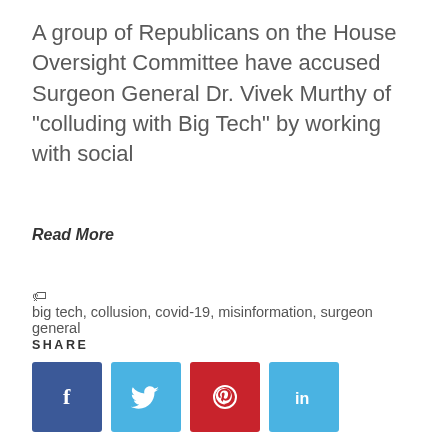A group of Republicans on the House Oversight Committee have accused Surgeon General Dr. Vivek Murthy of “colluding with Big Tech” by working with social
Read More
🏷 big tech, collusion, covid-19, misinformation, surgeon general
SHARE
[Figure (other): Social share buttons: Facebook (blue), Twitter (light blue), Pinterest (red), LinkedIn (light blue)]
[Figure (photo): Blurred close-up photo of an elderly man with white hair, taken from above/front angle. A blue back-to-top arrow button is visible in the bottom-right corner.]